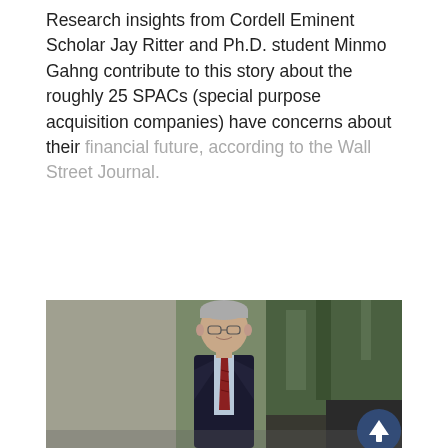Research insights from Cordell Eminent Scholar Jay Ritter and Ph.D. student Minmo Gahng contribute to this story about the roughly 25 SPACs (special purpose acquisition companies) have concerns about their financial future, according to the Wall Street Journal.
[Figure (photo): Professional portrait photograph of a man (Jay Ritter) in a dark suit with a striped tie, wearing glasses, standing outdoors with greenery in the background.]